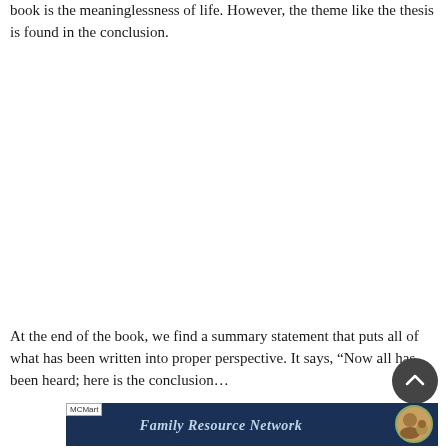book is the meaninglessness of life. However, the theme like the thesis is found in the conclusion.
At the end of the book, we find a summary statement that puts all of what has been written into proper perspective. It says, “Now all has been heard; here is the conclusion…
[Figure (other): Advertisement banner for Family Resource Network with dark navy background, italic bold text, and circular profile image on the right.]